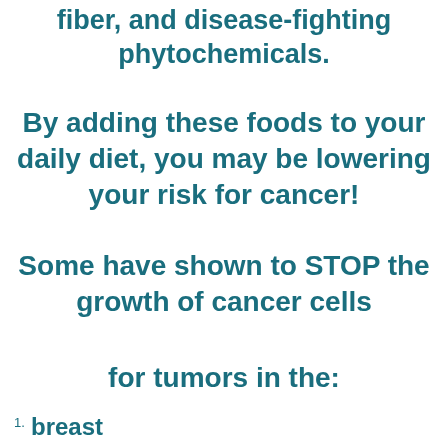fiber, and disease-fighting phytochemicals.
By adding these foods to your daily diet, you may be lowering your risk for cancer!
Some have shown to STOP the growth of cancer cells
for tumors in the:
1. breast